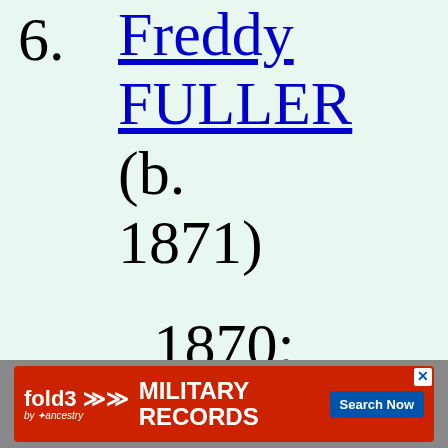6. Freddy FULLER (b. 1871)
1870: Johnsburg,
W...
[Figure (screenshot): fold3 by Ancestry advertisement banner for Military Records with Search Now button and close icon]